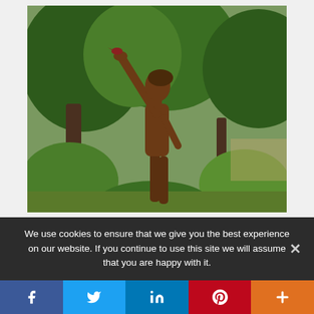[Figure (photo): Outdoor bronze statue of a standing male figure with one arm raised upward, a small bird perched on the outstretched hand, surrounded by green trees and garden vegetation]
We use cookies to ensure that we give you the best experience on our website. If you continue to use this site we will assume that you are happy with it.